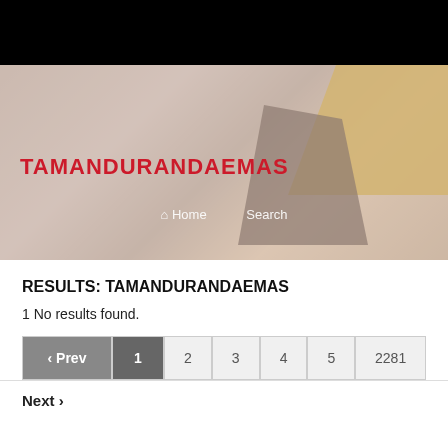[Figure (photo): Website header with black top bar, hero image showing person working at a table, with red site title TAMANDURANDAEMAS and navigation links Home and Search]
TAMANDURANDAEMAS
RESULTS: TAMANDURANDAEMAS
1 No results found.
‹ Prev  1  2  3  4  5  2281
Next ›